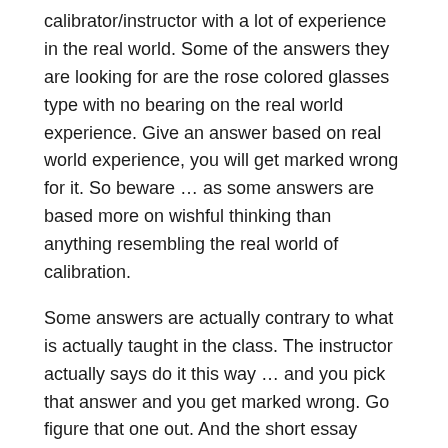calibrator/instructor with a lot of experience in the real world.  Some of the answers they are looking for are the rose colored glasses type with no bearing on the real world experience.  Give an answer based on real world experience, you will get marked wrong for it.  So beware … as some answers are based more on wishful thinking than anything resembling the real world of calibration.
Some answers are actually contrary to what is actually taught in the class.  The instructor actually says do it this way … and you pick that answer and you get marked wrong.  Go figure that one out.  And the short essay questions that are 25 words or  50 words, ignore the limit.  They are looking for a much longer explanation than is possible in 25 words.  So